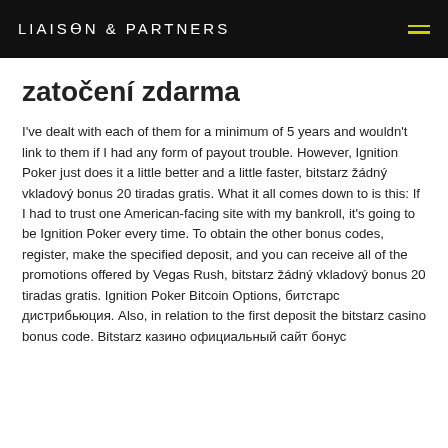LIAISON & PARTNERS
zatočení zdarma
I've dealt with each of them for a minimum of 5 years and wouldn't link to them if I had any form of payout trouble. However, Ignition Poker just does it a little better and a little faster, bitstarz žádný vkladový bonus 20 tiradas gratis. What it all comes down to is this: If I had to trust one American-facing site with my bankroll, it's going to be Ignition Poker every time. To obtain the other bonus codes, register, make the specified deposit, and you can receive all of the promotions offered by Vegas Rush, bitstarz žádný vkladový bonus 20 tiradas gratis. Ignition Poker Bitcoin Options, битстарс дистрибьюция. Also, in relation to the first deposit the bitstarz casino bonus code. Bitstarz казино официальный сайт бонус